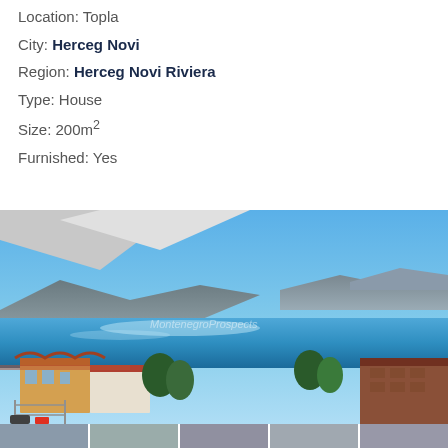Location: Topla
City: Herceg Novi
Region: Herceg Novi Riviera
Type: House
Size: 200m²
Furnished: Yes
[Figure (photo): Panoramic view from a balcony/terrace overlooking a bay with blue water, mountains in the background, and residential buildings with terracotta roofs in the foreground. A cyan WhatsApp chat button and an upward arrow button are overlaid on the bottom-right corner. A watermark reads 'MontenegroProspects'.]
[Figure (photo): Thumbnail strip of additional property photos at the bottom of the page]